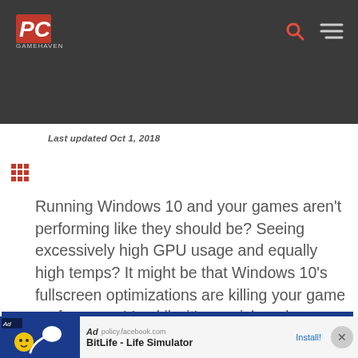PC Gamehaven — navigation header with logo, search, and menu icons
Last updated Oct 1, 2018
[Figure (logo): Red 9-dot grid icon]
Running Windows 10 and your games aren't performing like they should be? Seeing excessively high GPU usage and equally high temps? It might be that Windows 10's fullscreen optimizations are killing your game performance! Luckily, it's a quick and easy fix, at least on a game-by-game basis.
[Figure (other): Ad banner: BitLife - Life Simulator with Install button]